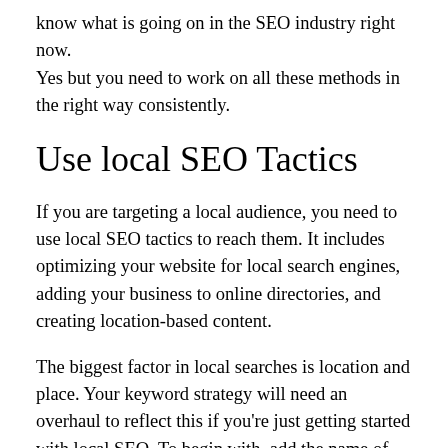know what is going on in the SEO industry right now.
Yes but you need to work on all these methods in the right way consistently.
Use local SEO Tactics
If you are targeting a local audience, you need to use local SEO tactics to reach them. It includes optimizing your website for local search engines, adding your business to online directories, and creating location-based content.
The biggest factor in local searches is location and place. Your keyword strategy will need an overhaul to reflect this if you're just getting started with local SEO. To begin with, add the name of the city/region where your business operates to your page title tag,